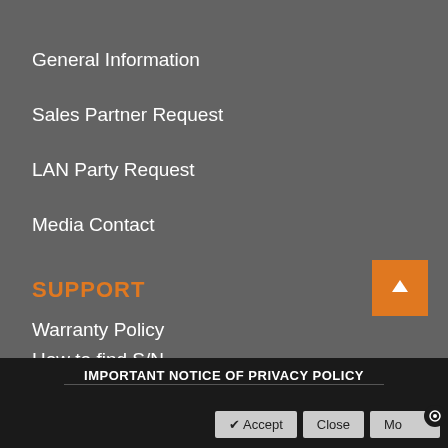General Information
Sales Partner Request
LAN Party Request
Media Contact
SUPPORT
Warranty Policy
How to find S/N
eRMA Service
IMPORTANT NOTICE OF PRIVACY POLICY
✔ Accept   Close   Mo